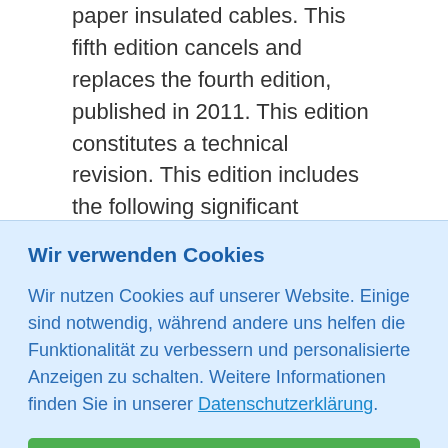paper insulated cables. This fifth edition cancels and replaces the fourth edition, published in 2011. This edition constitutes a technical revision. This edition includes the following significant technical changes with respect to the previous edition:
– Gas immersed cable terminations for use at rated voltages above 52 kV are required to be designed,
Wir verwenden Cookies
Wir nutzen Cookies auf unserer Website. Einige sind notwendig, während andere uns helfen die Funktionalität zu verbessern und personalisierte Anzeigen zu schalten. Weitere Informationen finden Sie in unserer Datenschutzerklärung.
Alle akzeptieren
Individuelle Einstellungen
Top